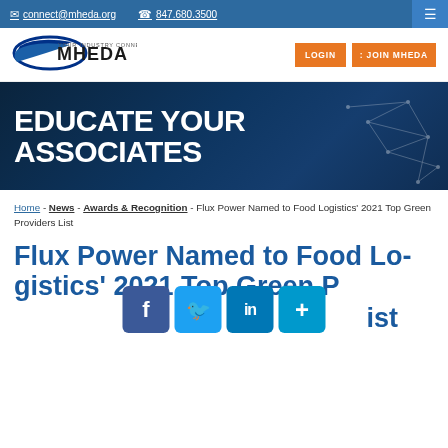connect@mheda.org  847.680.3500
[Figure (logo): MHEDA - Your Industry Connection logo with blue swoosh]
[Figure (illustration): EDUCATE YOUR ASSOCIATES hero banner with network graphic]
Home - News - Awards & Recognition - Flux Power Named to Food Logistics' 2021 Top Green Providers List
Flux Power Named to Food Logistics' 2021 Top Green Providers List